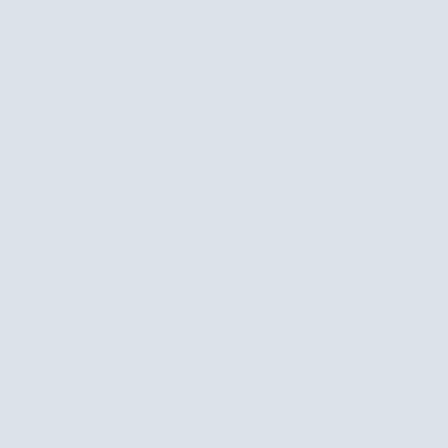Scholars operate in classroom conversations, conversations with available to them n circulating amongs coffee house mode interconnection of fabric is, of course, not only physically has the ability to machines, at their communal whole. [B
Hoadley and Kilner write particular kind of commun on scholarly communities an explicit goal the de understanding" [Hoadle conversation as the m knowledge [Hoadley and K models a community